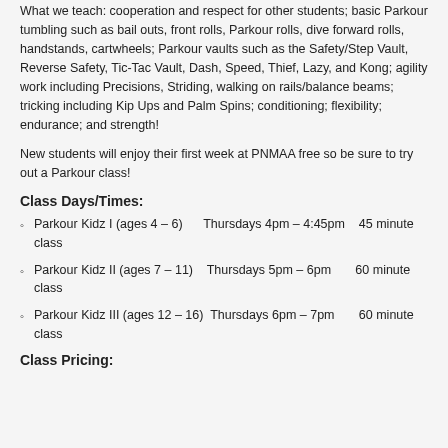What we teach: cooperation and respect for other students; basic Parkour tumbling such as bail outs, front rolls, Parkour rolls, dive forward rolls, handstands, cartwheels; Parkour vaults such as the Safety/Step Vault, Reverse Safety, Tic-Tac Vault, Dash, Speed, Thief, Lazy, and Kong; agility work including Precisions, Striding, walking on rails/balance beams; tricking including Kip Ups and Palm Spins; conditioning; flexibility; endurance; and strength!
New students will enjoy their first week at PNMAA free so be sure to try out a Parkour class!
Class Days/Times:
Parkour Kidz I (ages 4 – 6)      Thursdays 4pm – 4:45pm    45 minute class
Parkour Kidz II (ages 7 – 11)    Thursdays 5pm – 6pm        60 minute class
Parkour Kidz III (ages 12 – 16)  Thursdays 6pm – 7pm        60 minute class
Class Pricing: